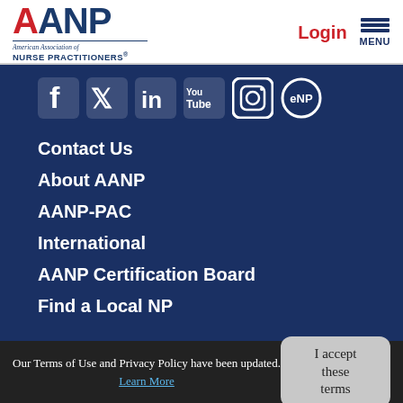[Figure (logo): AANP logo — American Association of Nurse Practitioners — red and navy blue lettering]
Login
[Figure (infographic): Hamburger menu icon with MENU label in navy blue]
[Figure (infographic): Social media icons row: Facebook, Twitter, LinkedIn, YouTube, Instagram, eNP]
Contact Us
About AANP
AANP-PAC
International
AANP Certification Board
Find a Local NP
Our Terms of Use and Privacy Policy have been updated. Learn More
I accept these terms